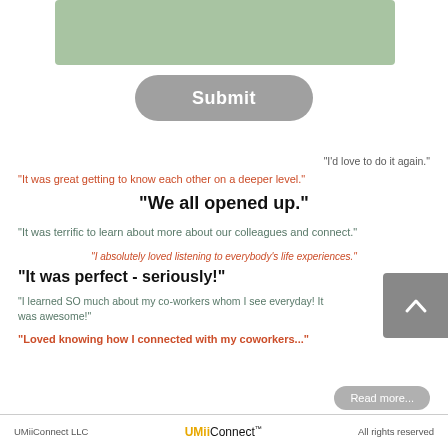[Figure (screenshot): Green rounded rectangle banner at top]
[Figure (screenshot): Gray rounded Submit button]
"I'd love to do it again."
"It was great getting to know each other on a deeper level."
"We all opened up."
"It was terrific to learn about more about our colleagues and connect."
"I absolutely loved listening to everybody's life experiences."
"It was perfect - seriously!"
"I learned SO much about my co-workers whom I see everyday! It was awesome!"
"Loved knowing how I connected with my coworkers..."
[Figure (screenshot): Read more button]
UMiiConnect LLC   UMiiConnect   All rights reserved